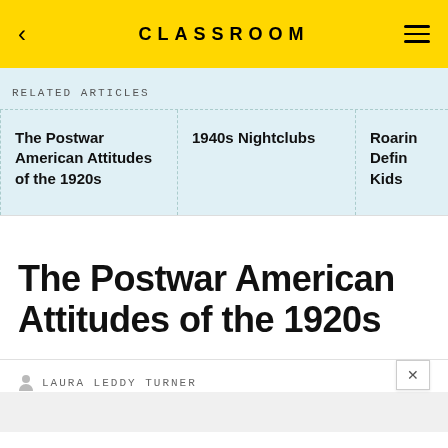CLASSROOM
RELATED ARTICLES
The Postwar American Attitudes of the 1920s
1940s Nightclubs
Roari... Defin... Kids
The Postwar American Attitudes of the 1920s
LAURA LEDDY TURNER